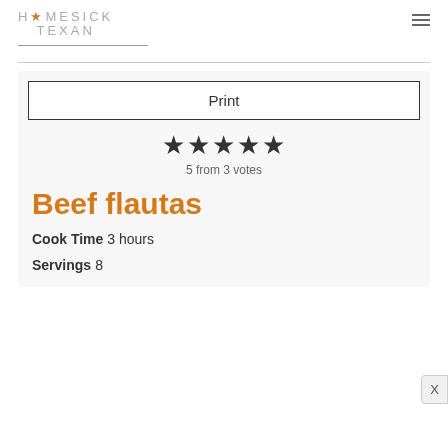HOMESICK TEXAN
Print
5 from 3 votes
Beef flautas
Cook Time  3 hours
Servings  8